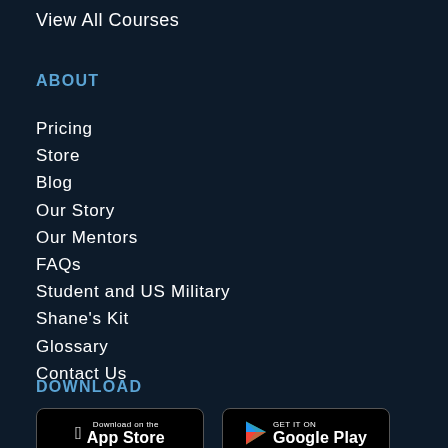View All Courses
ABOUT
Pricing
Store
Blog
Our Story
Our Mentors
FAQs
Student and US Military
Shane's Kit
Glossary
Contact Us
DOWNLOAD
[Figure (other): Download on the App Store badge]
[Figure (other): Get it on Google Play badge]